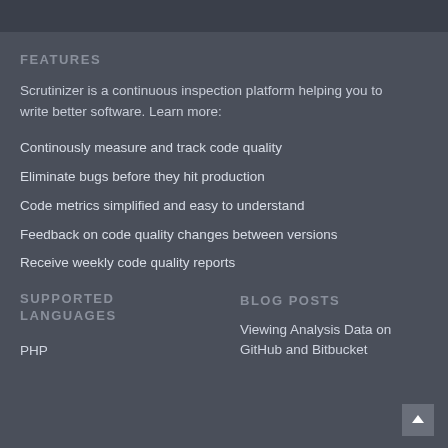FEATURES
Scrutinizer is a continuous inspection platform helping you to write better software. Learn more:
Continously measure and track code quality
Eliminate bugs before they hit production
Code metrics simplified and easy to understand
Feedback on code quality changes between versions
Receive weekly code quality reports
SUPPORTED LANGUAGES
BLOG POSTS
PHP
Viewing Analysis Data on GitHub and Bitbucket